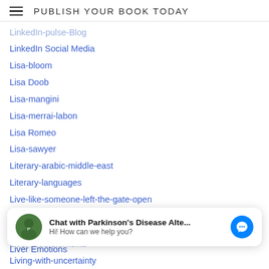PUBLISH YOUR BOOK TODAY
LinkedIn-pulse-Blog
LinkedIn Social Media
Lisa-bloom
Lisa Doob
Lisa-mangini
Lisa-merrai-labon
Lisa Romeo
Lisa-sawyer
Literary-arabic-middle-east
Literary-languages
Live-like-someone-left-the-gate-open
Live-like-someone-left-the-gate-open
Liver
Liver Emotions
Chat with Parkinson's Disease Alte... Hi! How can we help you?
Liver-food-elements
Living-with-uncertainty